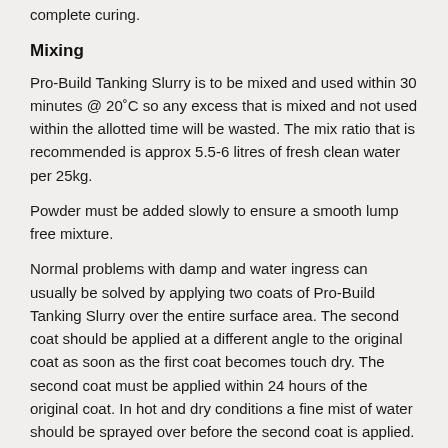complete curing.
Mixing
Pro-Build Tanking Slurry is to be mixed and used within 30 minutes @ 20˚C so any excess that is mixed and not used within the allotted time will be wasted. The mix ratio that is recommended is approx 5.5-6 litres of fresh clean water per 25kg.
Powder must be added slowly to ensure a smooth lump free mixture.
Normal problems with damp and water ingress can usually be solved by applying two coats of Pro-Build Tanking Slurry over the entire surface area. The second coat should be applied at a different angle to the original coat as soon as the first coat becomes touch dry. The second coat must be applied within 24 hours of the original coat. In hot and dry conditions a fine mist of water should be sprayed over before the second coat is applied.
If applying with a brush use a medium hard short bristled